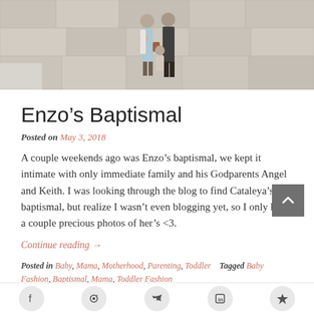[Figure (photo): Family photo of a couple with children standing against a stone wall outdoors]
Enzo’s Baptismal
Posted on May 3, 2018
A couple weekends ago was Enzo’s baptismal, we kept it intimate with only immediate family and his Godparents Angel and Keith. I was looking through the blog to find Cataleya’s baptismal, but realize I wasn’t even blogging yet, so I only have a couple precious photos of her’s <3.
Continue reading →
Posted in Baby, Mama, Motherhood, Parenting, Toddler   Tagged Baby Fashion, Baptismal, Mama, Toddler Fashion